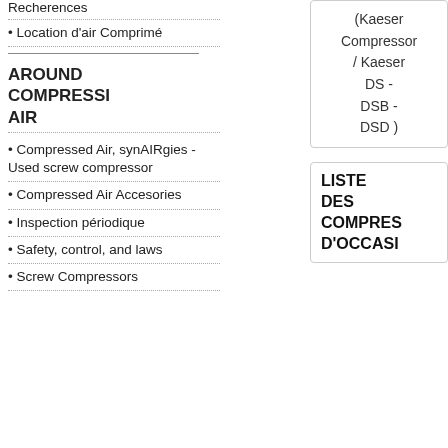Recherences
Location d'air Comprimé
AROUND COMPRESSI AIR
Compressed Air, synAIRgies - Used screw compressor
Compressed Air Accesories
Inspection périodique
Safety, control, and laws
Screw Compressors
(Kaeser Compressor / Kaeser DS - DSB - DSD )
LISTE DES COMPRES D'OCCASI